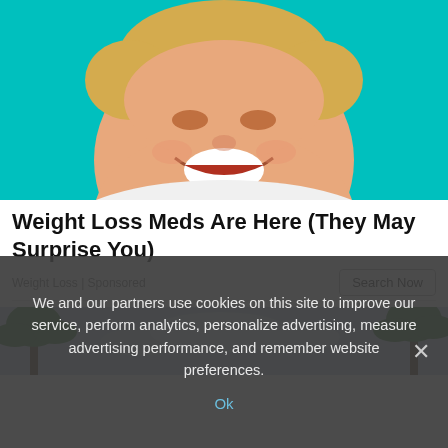[Figure (photo): A smiling plus-size woman with short blonde hair against a teal/turquoise background, wearing a white lace top, looking directly at camera and laughing.]
Weight Loss Meds Are Here (They May Surprise You)
Weight Loss | Sponsored
[Figure (photo): Partial view of a outdoor scene with palm trees and a cloudy blue sky.]
We and our partners use cookies on this site to improve our service, perform analytics, personalize advertising, measure advertising performance, and remember website preferences.